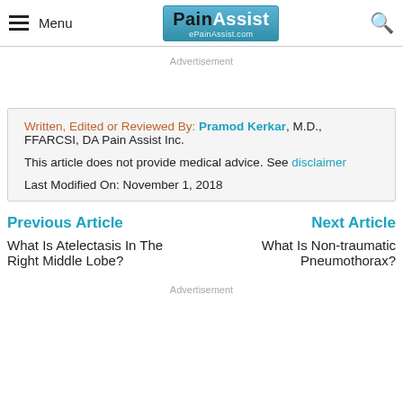Menu | PainAssist ePainAssist.com
Advertisement
Written, Edited or Reviewed By: Pramod Kerkar, M.D., FFARCSI, DA Pain Assist Inc.

This article does not provide medical advice. See disclaimer

Last Modified On: November 1, 2018
Previous Article
Next Article
What Is Atelectasis In The Right Middle Lobe?
What Is Non-traumatic Pneumothorax?
Advertisement